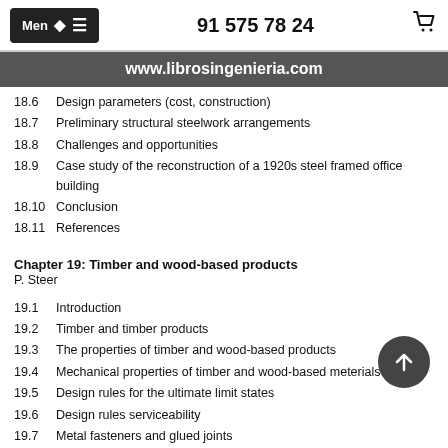Menú ≡   91 575 78 24   🛒
www.librosingenieria.com
18.6  Design parameters (cost, construction)
18.7  Preliminary structural steelwork arrangements
18.8  Challenges and opportunities
18.9  Case study of the reconstruction of a 1920s steel framed office building
18.10  Conclusion
18.11  References
Chapter 19: Timber and wood-based products
P. Steer
19.1  Introduction
19.2  Timber and timber products
19.3  The properties of timber and wood-based products
19.4  Mechanical properties of timber and wood-based meterials
19.5  Design rules for the ultimate limit states
19.6  Design rules serviceability
19.7  Metal fasteners and glued joints
19.8  Components, planes frames, bracing, detailing and control
19.9  Conclusions